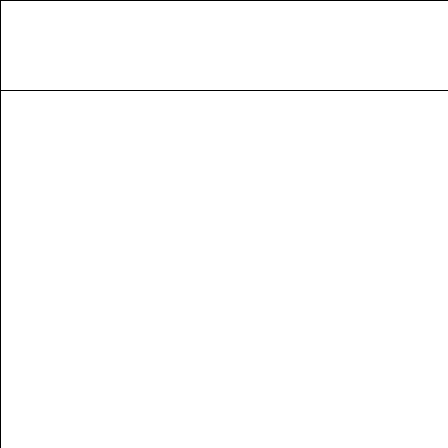|  |  | NO on all other mea YES on e Europe: s |
|  | Favors topic 18: Reduce use of coal, oil, & nuclear energy (2 points on Economic scale) | Wean ou Favors top Pledges t president Keep clin Environm Rated 68 environm Keep effi conserve NO on do Favors top YES on r National  YES on c energy: S YES on e efficiency NO on pr drilling: F YES on c Secretary NO on te 15 month YES on t powered topic 18 YES on r |